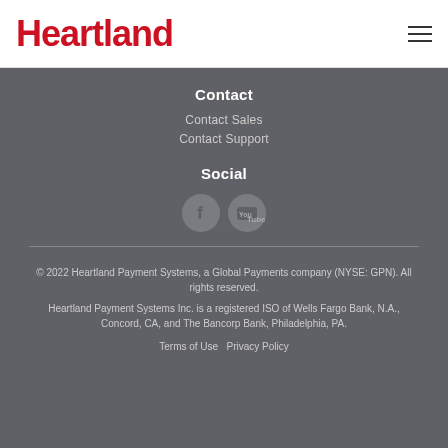[Figure (logo): Heartland logo in red bold text]
Contact
Contact Sales
Contact Support
Social
[Figure (illustration): Facebook and YouTube social media icons as circular buttons]
© 2022 Heartland Payment Systems, a Global Payments company (NYSE: GPN). All rights reserved.
Heartland Payment Systems Inc. is a registered ISO of Wells Fargo Bank, N.A., Concord, CA, and The Bancorp Bank, Philadelphia, PA.
Terms of Use  Privacy Policy